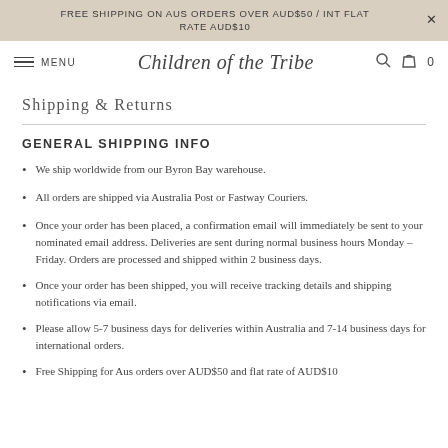FREE SHIPPING ON AUS ORDERS OVER AUD$50 / INT FLAT RATE AUD$10
MENU   Children of the Tribe   [search] [cart] 0
Shipping & Returns
GENERAL SHIPPING INFO
We ship worldwide from our Byron Bay warehouse.
All orders are shipped via Australia Post or Fastway Couriers.
Once your order has been placed, a confirmation email will immediately be sent to your nominated email address. Deliveries are sent during normal business hours Monday – Friday. Orders are processed and shipped within 2 business days.
Once your order has been shipped, you will receive tracking details and shipping notifications via email.
Please allow 5-7 business days for deliveries within Australia and 7-14 business days for international orders.
Free Shipping for Aus orders over AUD$50 and flat rate of AUD$10